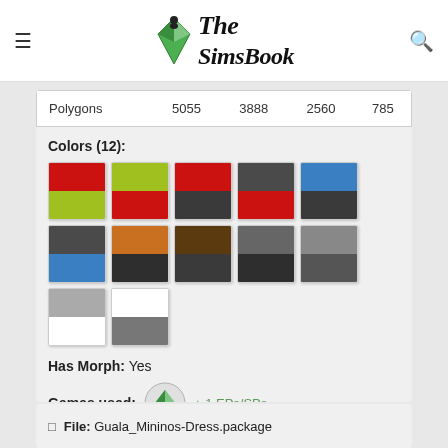The SimsBook
| Polygons | 5055 | 3888 | 2560 | 785 |
Colors (12):
[Figure (illustration): 12 color swatches in a 2-row grid showing dual-tone combinations: red/green, green/red, red/gray, red/gray, blue/gray, gray/blue, orange/gray, brown/gray, gray/gray, gray/gray, gray/white, white/gray]
Has Morph: Yes
Games used: + 1 EPs/SPs
[Figure (logo): The Sims 4 diamond/plumbob logo button]
Sims 4 (Base Game)
File: Guala_Mininos-Dress.package